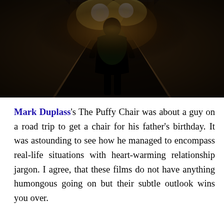[Figure (photo): Dark cinematic still image showing a silhouetted figure standing at the top of what appears to be a ramp or staircase with two bright lights (possibly headlights or stage lights) behind the figure's head. The scene is very dark with warm amber tones. Two diagonal rails extend toward the camera.]
Mark Duplass's The Puffy Chair was about a guy on a road trip to get a chair for his father's birthday. It was astounding to see how he managed to encompass real-life situations with heart-warming relationship jargon. I agree, that these films do not have anything humongous going on but their subtle outlook wins you over.